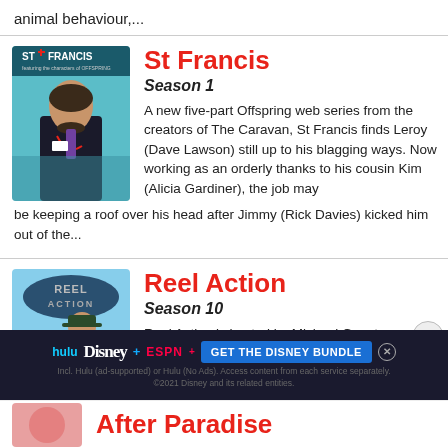animal behaviour,...
St Francis
Season 1
A new five-part Offspring web series from the creators of The Caravan, St Francis finds Leroy (Dave Lawson) still up to his blagging ways. Now working as an orderly thanks to his cousin Kim (Alicia Gardiner), the job may be keeping a roof over his head after Jimmy (Rick Davies) kicked him out of the...
[Figure (photo): Thumbnail image for St Francis showing a man in a suit with a stethoscope. Logo reads ST+FRANCIS featuring as characters of OFFSPRING]
Reel Action
Season 10
Reel Action is hosted by Michael Guest along with some colourful companions and concentrates on techniques and tackle to ... ar fish.
[Figure (photo): Thumbnail image for Reel Action showing a man holding a large fish with Reel Action logo]
[Figure (screenshot): Advertisement banner: hulu Disney+ ESPN+ GET THE DISNEY BUNDLE. Incl. Hulu (ad-supported) or Hulu (No Ads). Access content from each service separately. ©2021 Disney and its related entities.]
After Paradise